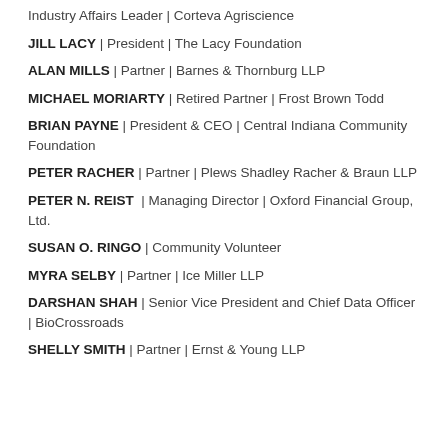Industry Affairs Leader | Corteva Agriscience
JILL LACY | President | The Lacy Foundation
ALAN MILLS | Partner | Barnes & Thornburg LLP
MICHAEL MORIARTY | Retired Partner | Frost Brown Todd
BRIAN PAYNE | President & CEO | Central Indiana Community Foundation
PETER RACHER | Partner | Plews Shadley Racher & Braun LLP
PETER N. REIST | Managing Director | Oxford Financial Group, Ltd.
SUSAN O. RINGO | Community Volunteer
MYRA SELBY | Partner | Ice Miller LLP
DARSHAN SHAH | Senior Vice President and Chief Data Officer | BioCrossroads
SHELLY SMITH | Partner | Ernst & Young LLP